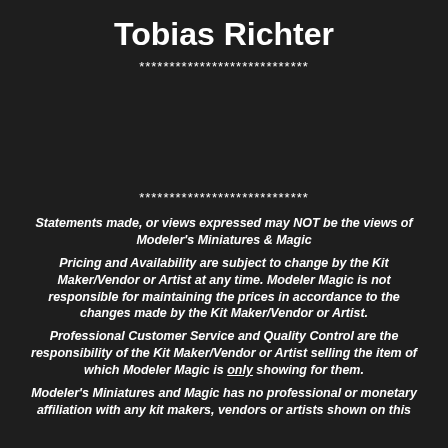Tobias Richter
****************************
****************************
Statements made, or views expressed may NOT be the views of Modeler's Miniatures & Magic
Pricing and Availability are subject to change by the Kit Maker/Vendor or Artist at any time. Modeler Magic is not responsible for maintaining the prices in accordance to the changes made by the Kit Maker/Vendor or Artist.
Professional Customer Service and Quality Control are the responsibility of the Kit Maker/Vendor or Artist selling the item of which Modeler Magic is only showing for them.
Modeler's Miniatures and Magic has no professional or monetary affiliation with any kit makers, vendors or artists shown on this